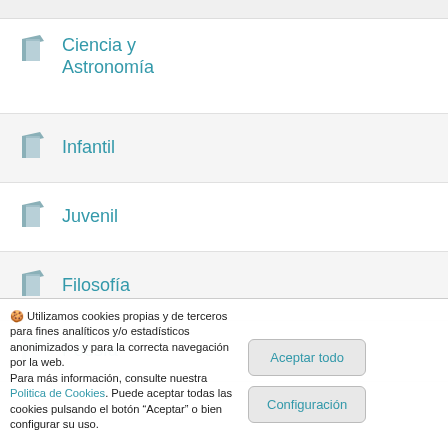Ciencia y Astronomía
Infantil
Juvenil
Filosofía
Poesía
🍪 Utilizamos cookies propias y de terceros para fines analíticos y/o estadísticos anonimizados y para la correcta navegación por la web.
Para más información, consulte nuestra Politica de Cookies. Puede aceptar todas las cookies pulsando el botón "Aceptar" o bien configurar su uso.
Aceptar todo
Configuración